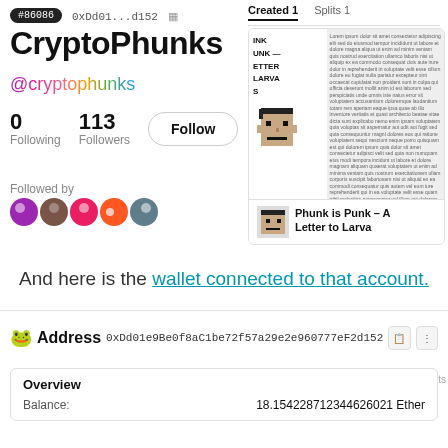#86086  0xDd01...d152
CryptoPhunks
@cryptophunks
0 Following   113 Followers
Followed by
[Figure (screenshot): NFT card showing 'Phunk is Punk – A Letter to Larva S' with text document and pixel-art face thumbnail. Tabs show Created 1 Splits 1]
And here is the wallet connected to that account.
Address 0xDd01e9Be0f8aC1be72f57a29e2e960777eF2d152
| Overview |  |
| --- | --- |
| Balance: | 18.154228712344626021 Ether |